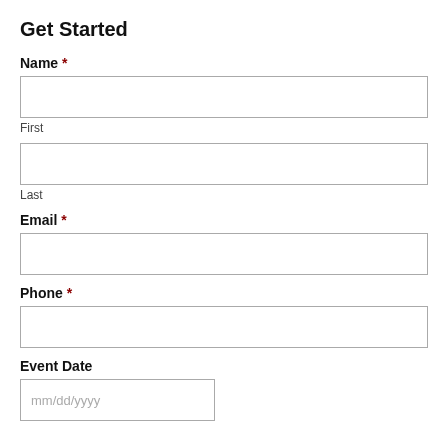Get Started
Name *
First
Last
Email *
Phone *
Event Date
mm/dd/yyyy